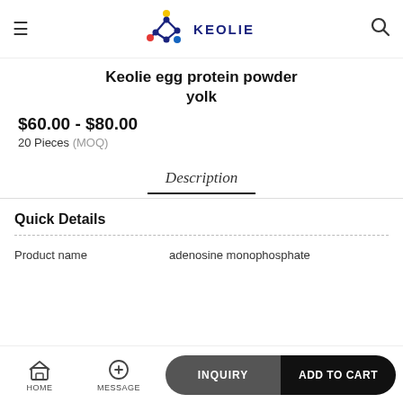KEOLIE
Keolie egg protein powder yolk
$60.00 - $80.00
20 Pieces (MOQ)
Description
Quick Details
| Product name |  |
| --- | --- |
| Product name | adenosine monophosphate |
HOME   MESSAGE   INQUIRY   ADD TO CART